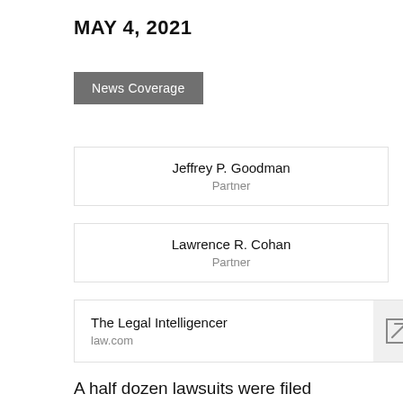MAY 4, 2021
News Coverage
Jeffrey P. Goodman
Partner
Lawrence R. Cohan
Partner
The Legal Intelligencer
law.com
A half dozen lawsuits were filed simultaneously in federal court in three states April 30—including Pennsylvania—against the manufacturers and marketers of Paraquat, a herbicide allegedly linked to developing Parkinson's disease.